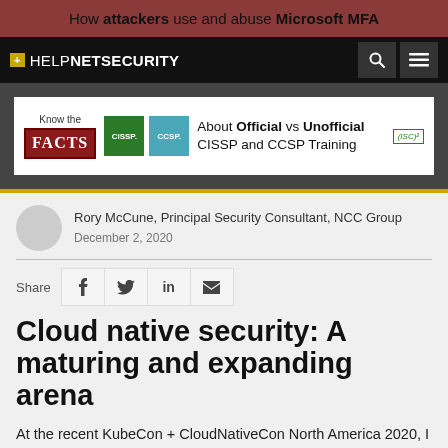How attackers use and abuse Microsoft MFA
[Figure (logo): Help Net Security logo with navigation icons (search and hamburger menu)]
[Figure (infographic): Advertisement banner: Know the FACTS - About Official vs Unofficial CISSP and CCSP Training - (ISC)²]
Rory McCune, Principal Security Consultant, NCC Group
December 2, 2020
Share
Cloud native security: A maturing and expanding arena
At the recent KubeCon + CloudNativeCon North America 2020, I had the opportunity to take part in a keynote panel